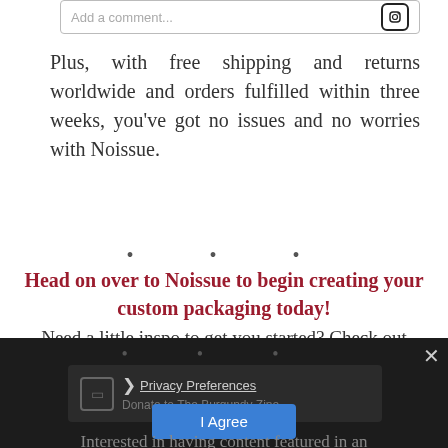Add a comment...
Plus, with free shipping and returns worldwide and orders fulfilled within three weeks, you've got no issues and no worries with Noissue.
· · ·
Head on over to Noissue to begin creating your custom packaging today! Need a little inspo to get you started? Check out their blog or Instagram to see how other creators have used Noissue!
· · ·
Privacy Preferences
Donate to The Burgundy Zine
I Agree
Interested in having content featured in an